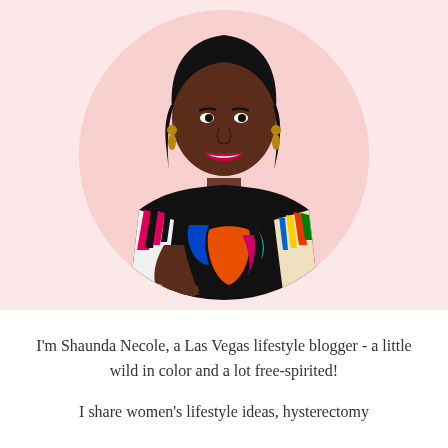[Figure (photo): A smiling woman with dark hair wearing a colorful patterned dress, posed with arms crossed, displayed in a circular crop against a light pink background.]
I'm Shaunda Necole, a Las Vegas lifestyle blogger - a little wild in color and a lot free-spirited!
I share women's lifestyle ideas, hysterectomy